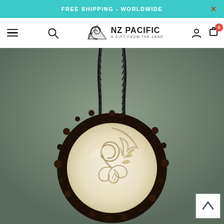FREE SHIPPING - WORLDWIDE
[Figure (logo): NZ Pacific logo with spiral koru icon and text 'NZ PACIFIC - A GIFT FROM THE LAND']
[Figure (photo): A carved bone pendant necklace with intricate fern/koru spiral design, dark outer ring crust, ivory white carved interior, hanging from braided black cord, against muted green-grey background]